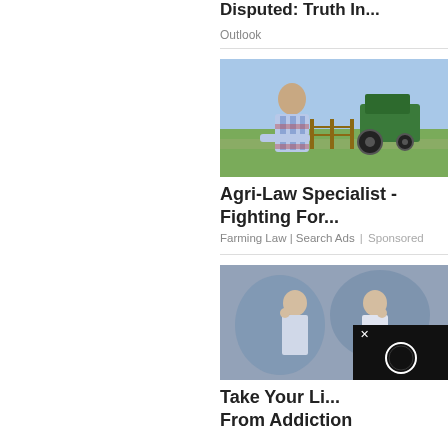Disputed: Truth In...
Outlook
[Figure (photo): A man in a plaid shirt leaning on a fence at a farm with a green tractor in the background]
Agri-Law Specialist - Fighting For...
Farming Law | Search Ads | Sponsored
[Figure (photo): Two young women outdoors with graffiti background, partially overlaid by a black video player with a close button and play circle]
Take Your Li... From Addiction